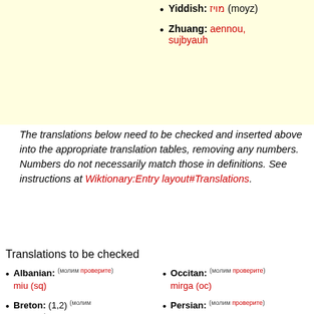Yiddish: מויז (moyz)
Zhuang: aennou, sujbyauh
The translations below need to be checked and inserted above into the appropriate translation tables, removing any numbers. Numbers do not necessarily match those in definitions. See instructions at Wiktionary:Entry layout#Translations.
Translations to be checked
Albanian: (молим проверите) miu (sq)
Breton: (1,2) (молим проверите) logodenn (br) f
Occitan: (молим проверите) mirga (oc)
Persian: (молим проверите) موشی (fa) (muši)